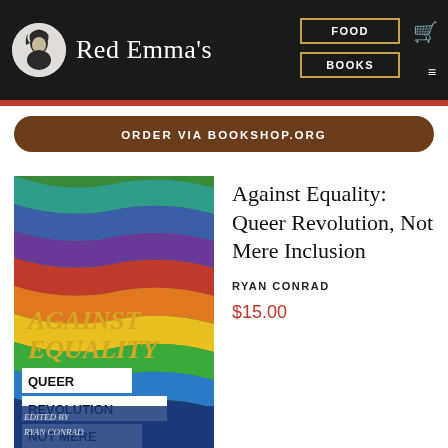Red Emma's
ORDER VIA BOOKSHOP.ORG
[Figure (photo): Book cover of 'Against Equality: Queer Revolution, Not Mere Inclusion' edited by Ryan Conrad, featuring wavy rainbow stripes background with white text overlays]
Against Equality: Queer Revolution, Not Mere Inclusion
RYAN CONRAD
$15.00